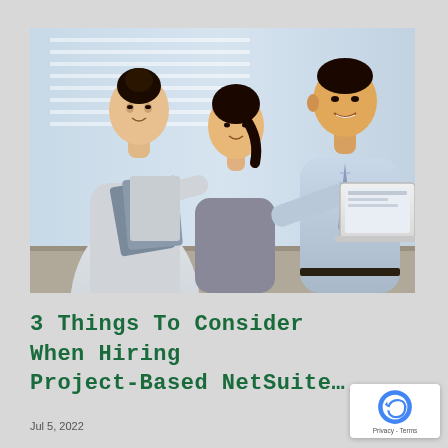[Figure (photo): Three Asian business professionals in an office setting: a woman on the left leaning forward holding folders, a woman in the center seated, and a man on the right in a blue shirt and tie pointing at a laptop/monitor screen. Office with window blinds in background.]
3 Things To Consider When Hiring Project-Based NetSuite…
Jul 5, 2022